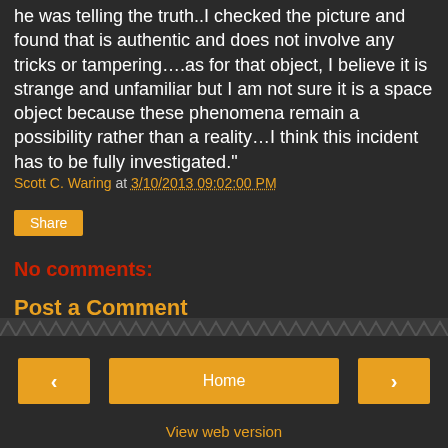he was telling the truth..I checked the picture and found that is authentic and does not involve any tricks or tampering….as for that object, I believe it is strange and unfamiliar but I am not sure it is a space object because these phenomena remain a possibility rather than a reality…I think this incident has to be fully investigated."
Scott C. Waring at 3/10/2013 09:02:00 PM
Share
No comments:
Post a Comment
‹  Home  ›  View web version